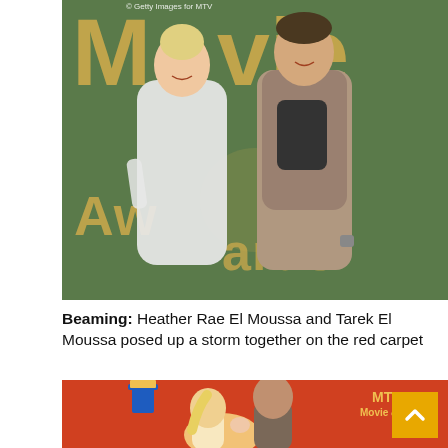[Figure (photo): Heather Rae El Moussa in a white fitted dress and Tarek El Moussa in a patterned jacket posing together on a green carpet in front of MTV Movie & TV Awards signage]
Beaming: Heather Rae El Moussa and Tarek El Moussa posed up a storm together on the red carpet
[Figure (photo): A couple kissing on a red carpet in front of MTV Movie & TV Awards signage]